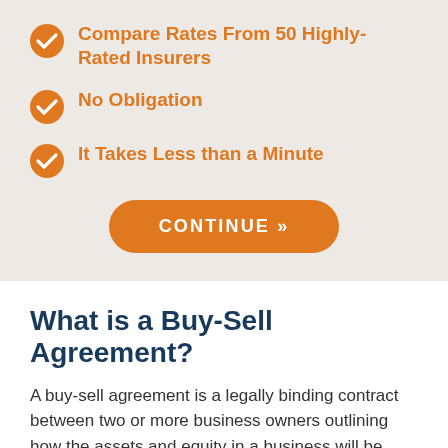Compare Rates From 50 Highly-Rated Insurers
No Obligation
It Takes Less than a Minute
[Figure (other): Orange rounded button with white uppercase text reading CONTINUE »]
What is a Buy-Sell Agreement?
A buy-sell agreement is a legally binding contract between two or more business owners outlining how the assets and equity in a business will be divided if an owner dies. The agreement is created